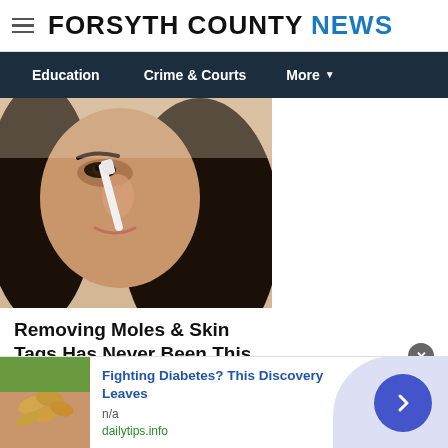FORSYTH COUNTY NEWS
Education   Crime & Courts   More
[Figure (photo): Close-up of a woman applying something white to her nose with a brush or tool]
Removing Moles & Skin Tags Has Never Been This Easy
Ad by Healthier Living Tips
[Figure (photo): Partial view of red fruits or vegetables held in hands]
[Figure (photo): Cashew nuts in a hand — advertisement thumbnail]
Fighting Diabetes? This Discovery Leaves
n/a
dailytips.info